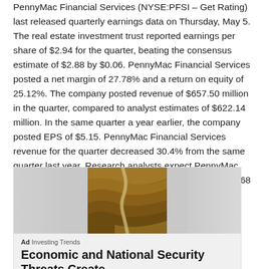PennyMac Financial Services (NYSE:PFSI – Get Rating) last released quarterly earnings data on Thursday, May 5. The real estate investment trust reported earnings per share of $2.94 for the quarter, beating the consensus estimate of $2.88 by $0.06. PennyMac Financial Services posted a net margin of 27.78% and a return on equity of 25.12%. The company posted revenue of $657.50 million in the quarter, compared to analyst estimates of $622.14 million. In the same quarter a year earlier, the company posted EPS of $5.15. PennyMac Financial Services revenue for the quarter decreased 30.4% from the same quarter last year. Research analysts expect PennyMac Financial Services, Inc. to post earnings per share of 8.68 for the current fiscal year.
[Figure (photo): Advertisement image showing an aerial/overhead view of a winding road through a mining or terraced hillside landscape, with blurred gray areas on left and right sides. Below the image: Ad label 'Investing Trends' and headline 'Economic and National Security Threats Create']